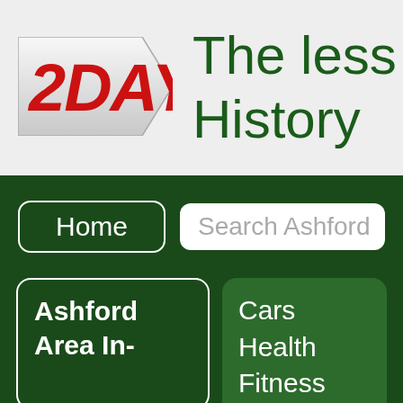[Figure (logo): 2DAY logo in red italic bold text on a grey arrow/tag shape]
The less History
Home
Search Ashford
Ashford Area In-
Cars Health Fitness Eco Money